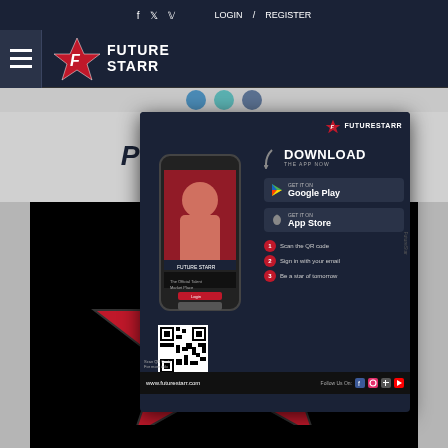f  v  LOGIN / REGISTER
[Figure (logo): Future Starr logo with star icon and hamburger menu in dark navy header bar]
[Figure (screenshot): Website page showing Future Starr branded content with large logo on black background]
[Figure (infographic): Future Starr app download advertisement popup showing phone mockup, Download the App Now heading, Google Play and App Store buttons, QR code, steps to get started, and www.futurestarr.com URL]